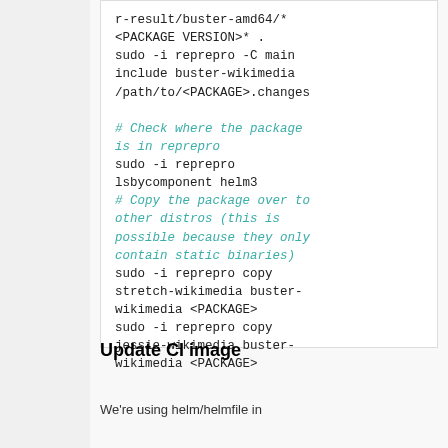r-result/buster-amd64/*
<PACKAGE VERSION>* .
sudo -i reprepro -C main include buster-wikimedia /path/to/<PACKAGE>.changes

# Check where the package is in reprepro
sudo -i reprepro lsbycomponent helm3
# Copy the package over to other distros (this is possible because they only contain static binaries)
sudo -i reprepro copy stretch-wikimedia buster-wikimedia <PACKAGE>
sudo -i reprepro copy jessie-wikimedia buster-wikimedia <PACKAGE>
Update CI image
We're using helm/helmfile in